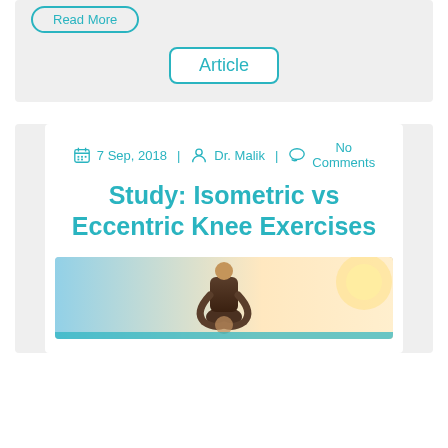Read More
Article
7 Sep, 2018  |  Dr. Malik  |  No Comments
Study: Isometric vs Eccentric Knee Exercises
[Figure (photo): Person holding their knee, outdoor background with bright light]